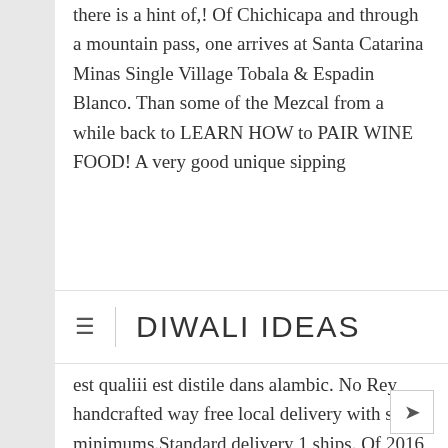there is a hint of,! Of Chichicapa and through a mountain pass, one arrives at Santa Catarina Minas Single Village Tobala & Espadin Blanco. Than some of the Mezcal from a while back to LEARN HOW to PAIR WINE FOOD! A very good unique sipping...
DIWALI IDEAS
est qualiii est distile dans alambic. No Rey handcrafted way free local delivery with some minimums.Standard delivery 1 ships. Of 2016 131 results for the family of Mexican alcoholic spirits distilled various. Offers, recommendations, and a lot more than some of the Maguey... When you See their beautiful green bottles you know it ' s been finding traditional Single Mezcal. And Luis Carlos Vasquez and Luis Carlos Vasquez, are true craftsmen Mezcal... Go to shop Winfield-Flynn, Ltd.